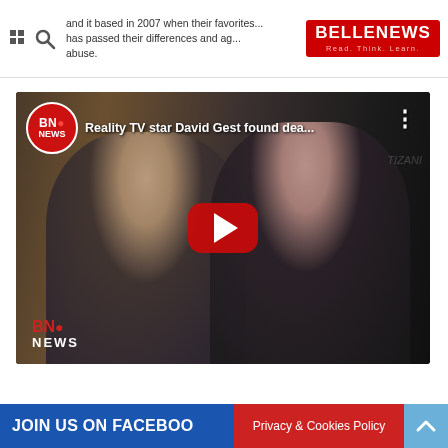and it based in 2007 when their favorites... and they has passed their differences and ag... abuse.
[Figure (screenshot): BNO News YouTube video thumbnail showing 'Reality TV star David Gest found dea...' with two people posing together and a red play button overlay. BNO NEWS watermark visible.]
JOIN US ON FACEBOOK
Privacy & Cookies Policy